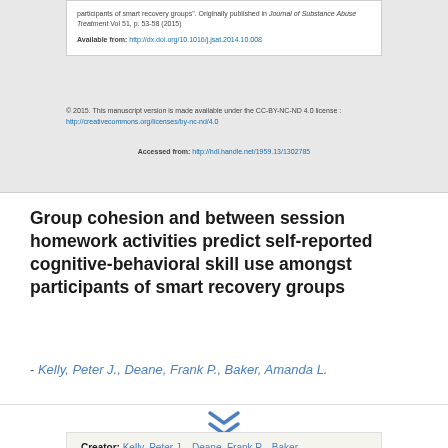participants of smart recovery groups". Originally published in Journal of Substance Abuse Treatment Vol 51, p. 53-58 (2015)
Available from: http://dx.doi.org/10.1016/j.jsat.2014.10.008
© 2015. This manuscript version is made available under the CC-BY-NC-ND 4.0 license : http://creativecommons.org/licenses/by-nc-nd/4.0
Accessed from: http://hdl.handle.net/1959.13/1302785
Group cohesion and between session homework activities predict self-reported cognitive-behavioral skill use amongst participants of smart recovery groups
- Kelly, Peter J., Deane, Frank P., Baker, Amanda L.
Creator: Kelly, Peter J. , Deane, Frank P. , Baker, Amanda L.